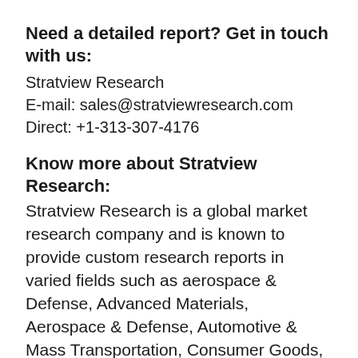Need a detailed report? Get in touch with us:
Stratview Research
E-mail: sales@stratviewresearch.com
Direct: +1-313-307-4176
Know more about Stratview Research:
Stratview Research is a global market research company and is known to provide custom research reports in varied fields such as aerospace & Defense, Advanced Materials, Aerospace & Defense, Automotive & Mass Transportation, Consumer Goods, Construction & Equipment, Electronics and Semiconductors, Energy & Utility,